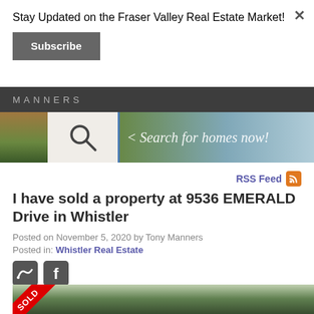Stay Updated on the Fraser Valley Real Estate Market!
Subscribe
MANNERS
[Figure (screenshot): Banner with search icon and text '< Search for homes now!' over a forest/mountain background]
RSS Feed
I have sold a property at 9536 EMERALD Drive in Whistler
Posted on November 5, 2020 by Tony Manners
Posted in: Whistler Real Estate
[Figure (photo): Social media icons: Twitter and Facebook]
[Figure (photo): Property listing photo showing trees/forest with SOLD ribbon overlay in red]